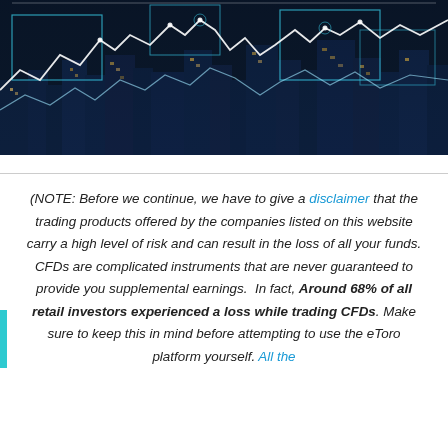[Figure (photo): Night cityscape with glowing financial chart overlays — white line graphs, blue grid rectangles, and data visualization elements overlaid on a dark city skyline]
(NOTE: Before we continue, we have to give a disclaimer that the trading products offered by the companies listed on this website carry a high level of risk and can result in the loss of all your funds. CFDs are complicated instruments that are never guaranteed to provide you supplemental earnings. In fact, Around 68% of all retail investors experienced a loss while trading CFDs. Make sure to keep this in mind before attempting to use the eToro platform yourself. All the